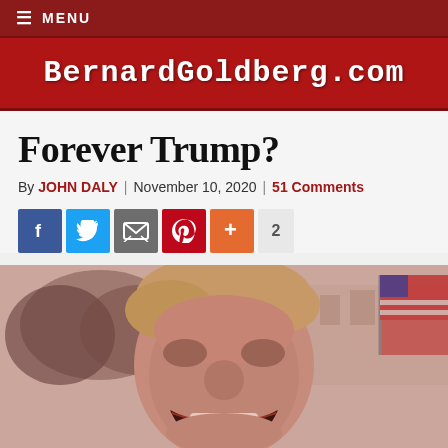≡ MENU
BernardGoldberg.com
Forever Trump?
By JOHN DALY | November 10, 2020 | 51 Comments
[Figure (other): Social sharing buttons: Facebook, Twitter, Email, Pinterest, Plus, and a count of 2]
[Figure (photo): Black and white photo with red tint of Donald Trump with mouth open, shouting, with trees and a flag visible in background]